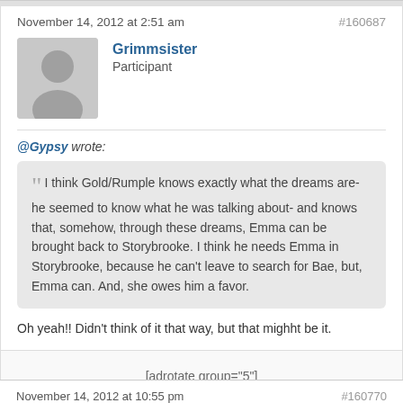November 14, 2012 at 2:51 am
#160687
Grimmsister
Participant
@Gypsy wrote:
I think Gold/Rumple knows exactly what the dreams are- he seemed to know what he was talking about- and knows that, somehow, through these dreams, Emma can be brought back to Storybrooke. I think he needs Emma in Storybrooke, because he can't leave to search for Bae, but, Emma can. And, she owes him a favor.
Oh yeah!! Didn't think of it that way, but that mighht be it.
[adrotate group="5"]
November 14, 2012 at 10:55 pm
#160770